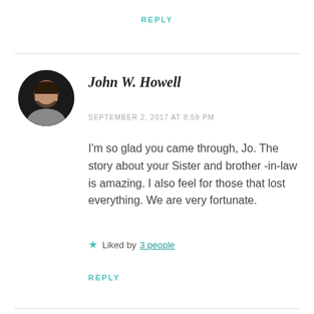REPLY
John W. Howell
SEPTEMBER 2, 2017 AT 8:59 PM
I'm so glad you came through, Jo. The story about your Sister and brother -in-law is amazing. I also feel for those that lost everything. We are very fortunate.
Liked by 3 people
REPLY